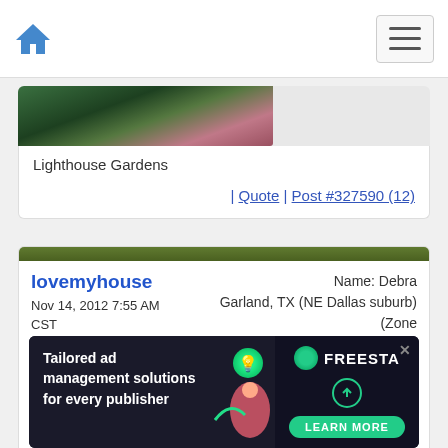Home navigation and hamburger menu
[Figure (photo): Partial flower/garden photo, dark green and pink tones]
Lighthouse Gardens
| Quote | Post #327590 (12)
lovemyhouse
Nov 14, 2012 7:55 AM CST
Name: Debra
Garland, TX (NE Dallas suburb) (Zone 8a)
Rescue dogs: Angels with paws needi
[Figure (infographic): Row of emoji icons: dragonfly, dog, cupcake, grid, camera, bee, wheel, butterfly, Texas, lightbulb, hammer, figure]
Think I might like yours better with its slightly dark...
[Figure (screenshot): Ad banner: Tailored ad management solutions for every publisher | FREESTA | LEARN MORE button]